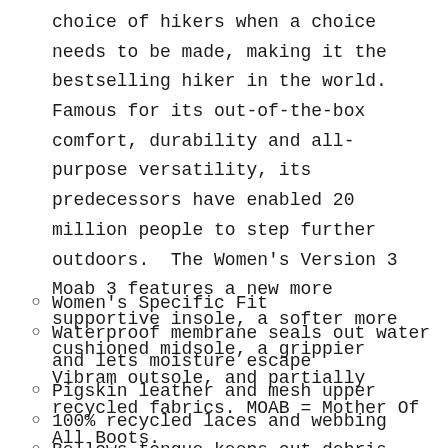choice of hikers when a choice needs to be made, making it the bestselling hiker in the world. Famous for its out-of-the-box comfort, durability and all-purpose versatility, its predecessors have enabled 20 million people to step further outdoors. The Women's Version 3 Moab 3 features a new more supportive insole, a softer more cushioned midsole, a grippier Vibram outsole, and partially recycled fabrics. MOAB = Mother Of All Boots.
Women's Specific Fit
Waterproof membrane seals out water and lets moisture escape
Pigskin leather and mesh upper
100% recycled laces and webbing
Bellows tongue keeps out debris